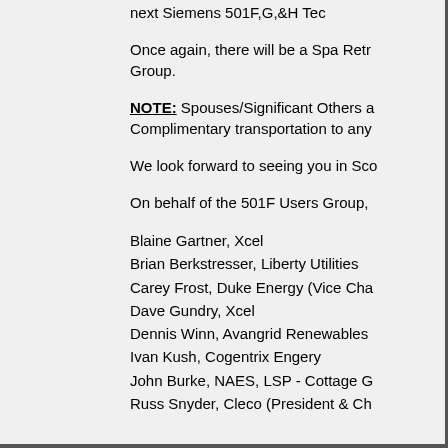next Siemens 501F,G,&H Tec
Once again, there will be a Spa Retr Group.
NOTE: Spouses/Significant Others a Complimentary transportation to any
We look forward to seeing you in Sco
On behalf of the 501F Users Group,
Blaine Gartner, Xcel
Brian Berkstresser, Liberty Utilities
Carey Frost, Duke Energy (Vice Cha
Dave Gundry, Xcel
Dennis Winn, Avangrid Renewables
Ivan Kush, Cogentrix Engery
John Burke, NAES, LSP - Cottage G
Russ Snyder, Cleco (President & Ch